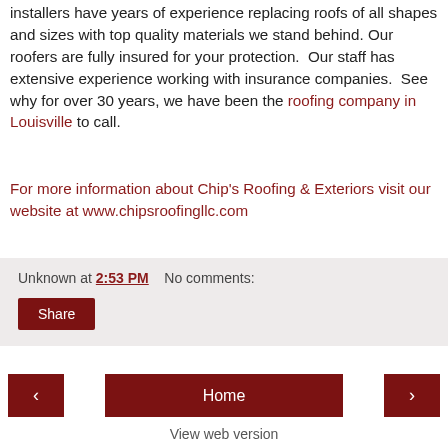installers have years of experience replacing roofs of all shapes and sizes with top quality materials we stand behind. Our roofers are fully insured for your protection.  Our staff has extensive experience working with insurance companies.  See why for over 30 years, we have been the roofing company in Louisville to call.
For more information about Chip's Roofing & Exteriors visit our website at www.chipsroofingllc.com
Unknown at 2:53 PM    No comments:
Share
‹    Home    ›
View web version
About Me
Unknown